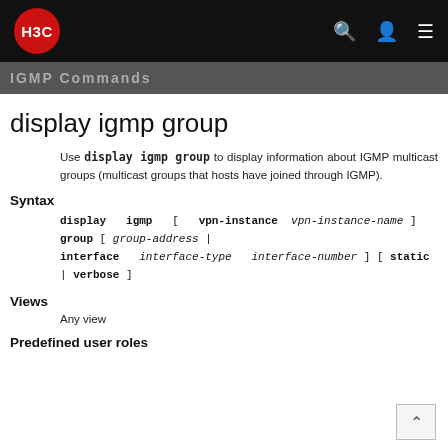H3C
display igmp group
Use display igmp group to display information about IGMP multicast groups (multicast groups that hosts have joined through IGMP).
Syntax
display igmp [ vpn-instance vpn-instance-name ] group [ group-address | interface interface-type interface-number ] [ static | verbose ]
Views
Any view
Predefined user roles